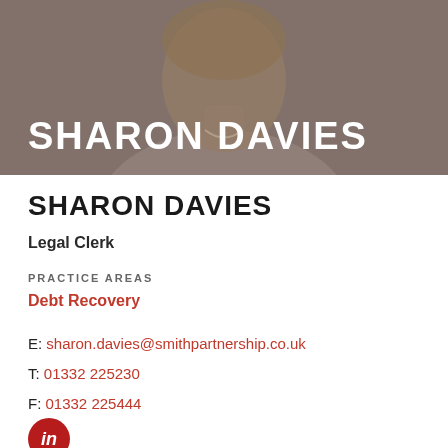[Figure (photo): Portrait photo of Sharon Davies, a woman with blonde hair wearing a light-colored top and necklace, shown from shoulders up against a muted background with a dark overlay showing the name SHARON DAVIES in white bold text.]
SHARON DAVIES
Legal Clerk
PRACTICE AREAS
Debt Recovery
E: sharon.davies@smithpartnership.co.uk
T: 01332 225230
F: 01332 225444
[Figure (logo): LinkedIn logo — circular red background with white 'in' text]